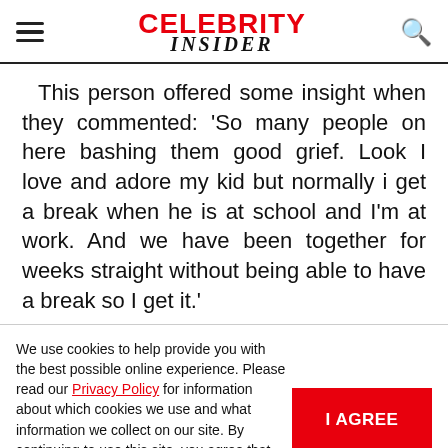CELEBRITY INSIDER
This person offered some insight when they commented: 'So many people on here bashing them good grief. Look I love and adore my kid but normally i get a break when he is at school and I'm at work. And we have been together for weeks straight without being able to have a break so I get it.'
We use cookies to help provide you with the best possible online experience. Please read our Privacy Policy for information about which cookies we use and what information we collect on our site. By continuing to use this site, you agree that we may store and access cookies on your device.